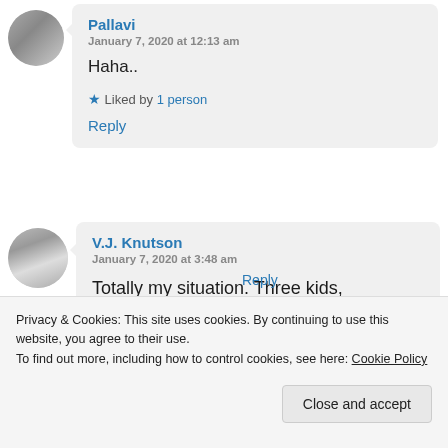Pallavi
January 7, 2020 at 12:13 am

Haha..

★ Liked by 1 person

Reply
V.J. Knutson
January 7, 2020 at 3:48 am

Totally my situation. Three kids, all resembling their father

Reply
Privacy & Cookies: This site uses cookies. By continuing to use this website, you agree to their use.
To find out more, including how to control cookies, see here: Cookie Policy

Close and accept